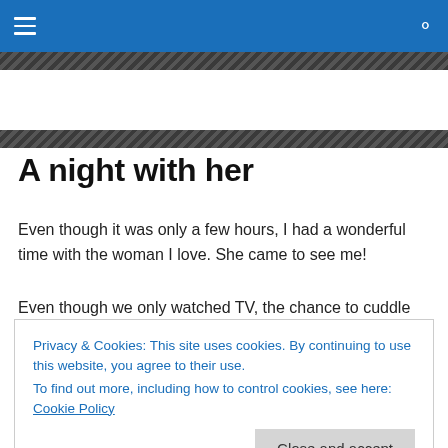navigation bar with hamburger menu and search icon
A night with her
Even though it was only a few hours, I had a wonderful time with the woman I love. She came to see me!
Even though we only watched TV, the chance to cuddle again, I know I am the only one simply because she said
Privacy & Cookies: This site uses cookies. By continuing to use this website, you agree to their use.
To find out more, including how to control cookies, see here: Cookie Policy
Close and accept